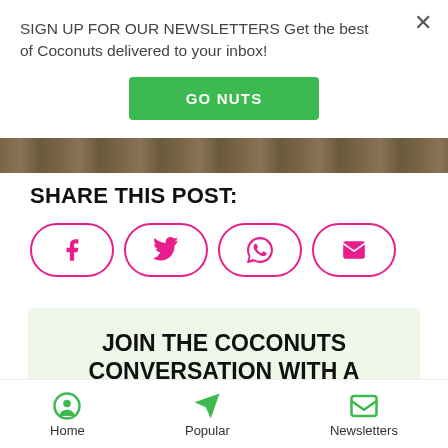SIGN UP FOR OUR NEWSLETTERS Get the best of Coconuts delivered to your inbox!
GO NUTS
[Figure (photo): Partial photo strip showing a brown/nature scene]
SHARE THIS POST:
[Figure (infographic): Social share buttons: Facebook, Twitter, WhatsApp, Email — pink outlined pill buttons]
JOIN THE COCONUTS CONVERSATION WITH A COMMENT.
You must be logged in as a Coconut...
Home  Popular  Newsletters